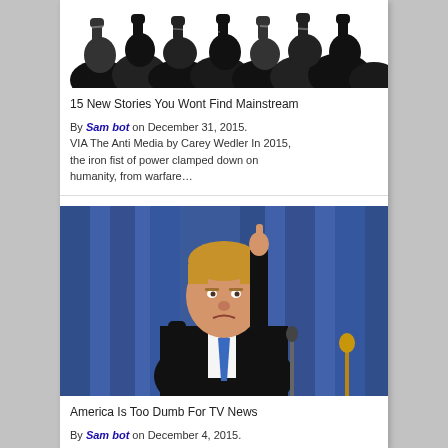[Figure (illustration): Black and white illustration of a crowd of people with raised fists]
15 New Stories You Wont Find Mainstream
By Sam bot on December 31, 2015. VIA The Anti Media by Carey Wedler In 2015, the iron fist of power clamped down on humanity, from warfare…
[Figure (photo): Photo of Donald Trump in a suit with a blue tie, pointing upward with one finger, in front of a blue curtain backdrop]
America Is Too Dumb For TV News
By Sam bot on December 4, 2015.